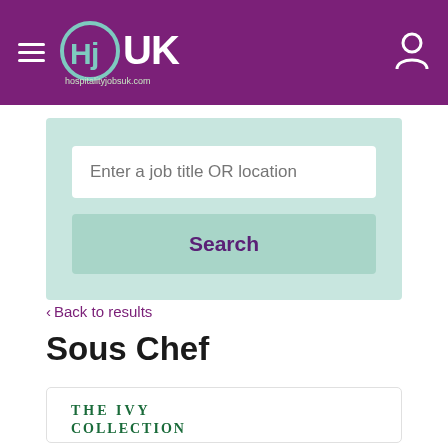HJ UK - hospitalityjobsuk.com
Enter a job title OR location
Search
< Back to results
Sous Chef
[Figure (logo): The Ivy Collection logo]